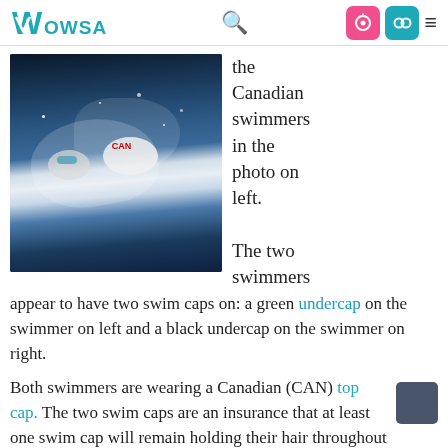WOWSA [search icon] [open access icon] [user icon] [menu icon]
[Figure (photo): Two competitive swimmers racing in open water, both wearing Canadian (CAN) swim caps. One swimmer has a green undercap visible, the other a black undercap. Water is splashing around them.]
the Canadian swimmers in the photo on left.
The two swimmers appear to have two swim caps on: a green undercap on the swimmer on left and a black undercap on the swimmer on right.
Both swimmers are wearing a Canadian (CAN) top cap. The two swim caps are an insurance that at least one swim cap will remain holding their hair throughout a